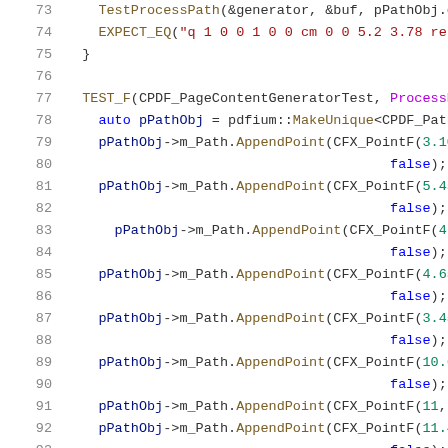[Figure (screenshot): Source code snippet showing C++ unit test code with syntax highlighting. Lines 73-93 of a PDF content generator test file. Shows TestProcessPath calls, EXPECT_EQ macro, TEST_F macro, and multiple pPathObj->m_Path.AppendPoint(CFX_PointF(...)) calls with false parameters.]